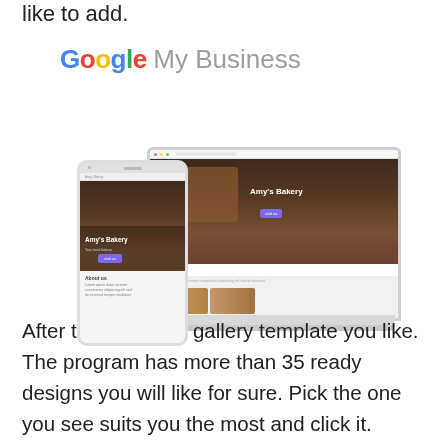like to add.
[Figure (screenshot): Google My Business logo and screenshot showing Amy's Bakery website on a laptop and phone]
After that, select a gallery template you like. The program has more than 35 ready designs you will like for sure. Pick the one you see suits you the most and click it. Choose according to the theme you are going for.